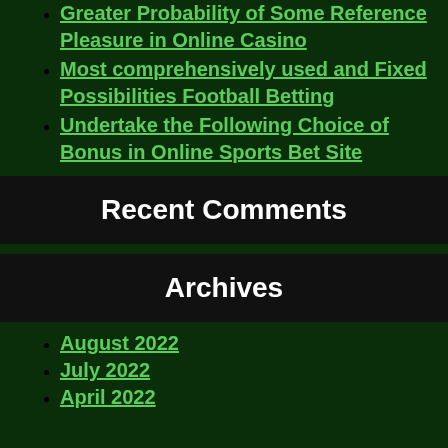Greater Probability of Some Reference Pleasure in Online Casino
Most comprehensively used and Fixed Possibilities Football Betting
Undertake the Following Choice of Bonus in Online Sports Bet Site
Recent Comments
Archives
August 2022
July 2022
April 2022